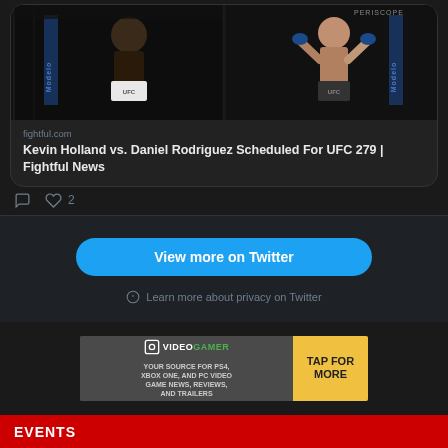[Figure (screenshot): UFC fight photo showing two fighters in the octagon with Modelo sponsorship banners]
fightful.com
Kevin Holland vs. Daniel Rodriguez Scheduled For UFC 279 | Fightful News
2 likes
View more on Twitter
Learn more about privacy on Twitter
[Figure (other): VideoGamer advertisement banner: YOUR SOURCE FOR PS4, XBOX ONE, AND PC VIDEO GAME NEWS, REVIEWS, AND TRAILERS. TAP FOR MORE]
EVENTS